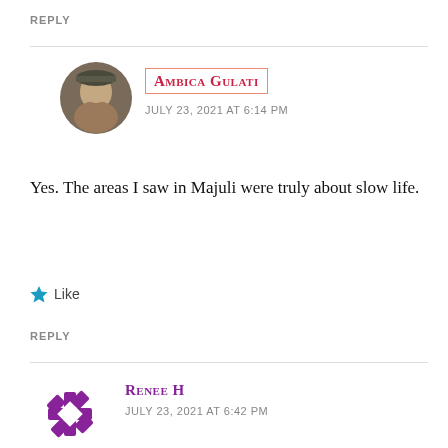REPLY
AMBICA GULATI
JULY 23, 2021 AT 6:14 PM
Yes. The areas I saw in Majuli were truly about slow life.
Like
REPLY
RENEE H
JULY 23, 2021 AT 6:42 PM